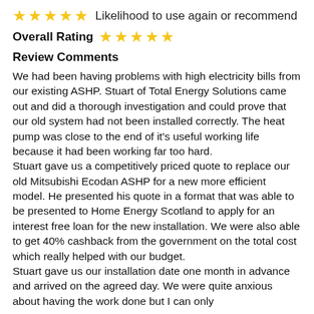★★★★★ Likelihood to use again or recommend
Overall Rating ★★★★★
Review Comments
We had been having problems with high electricity bills from our existing ASHP. Stuart of Total Energy Solutions came out and did a thorough investigation and could prove that our old system had not been installed correctly. The heat pump was close to the end of it's useful working life because it had been working far too hard.
Stuart gave us a competitively priced quote to replace our old Mitsubishi Ecodan ASHP for a new more efficient model. He presented his quote in a format that was able to be presented to Home Energy Scotland to apply for an interest free loan for the new installation. We were also able to get 40% cashback from the government on the total cost which really helped with our budget.
Stuart gave us our installation date one month in advance and arrived on the agreed day. We were quite anxious about having the work done but I can only